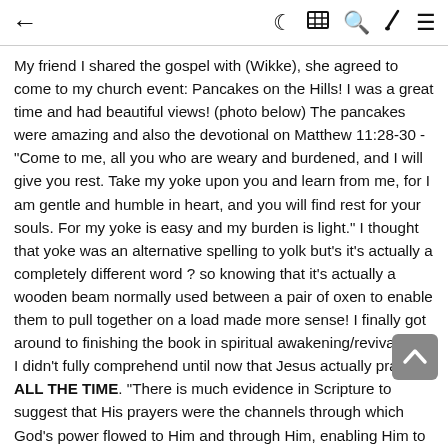← [navigation icons: moon, table, search, brush, menu]
My friend I shared the gospel with (Wikke), she agreed to come to my church event: Pancakes on the Hills! I was a great time and had beautiful views! (photo below) The pancakes were amazing and also the devotional on Matthew 11:28-30 - "Come to me, all you who are weary and burdened, and I will give you rest. Take my yoke upon you and learn from me, for I am gentle and humble in heart, and you will find rest for your souls. For my yoke is easy and my burden is light." I thought that yoke was an alternative spelling to yolk but's it's actually a completely different word ? so knowing that it's actually a wooden beam normally used between a pair of oxen to enable them to pull together on a load made more sense! I finally got around to finishing the book in spiritual awakening/revival YAY I didn't fully comprehend until now that Jesus actually prayed ALL THE TIME. "There is much evidence in Scripture to suggest that His prayers were the channels through which God's power flowed to Him and through Him, enabling Him to do mighty works... Jesus' ministry began, sustained, and ended in prayer." In fact, He is STILL PRAYING FOR US RIGHT NOW AND FOR ETERNITY! Jesus is the supreme example of prayer.